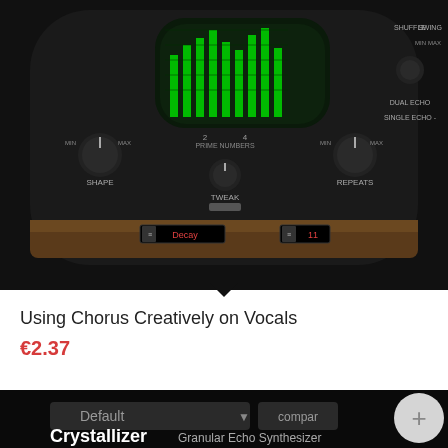[Figure (screenshot): Audio plugin interface showing knobs labeled Shape, Prime Numbers (2-4 scale), Repeats, with green bar meter display, Tweak control, Decay and 11 display readouts. Right side shows Shuffle, Swing, Dual Echo, Single Echo controls.]
Using Chorus Creatively on Vocals
€2.37
EUR
Add to basket
Show Details
[Figure (screenshot): Audio plugin interface at bottom showing a dark UI with a 'Default' dropdown, 'compare' button, and 'Crystallizer Granular Echo Synthesizer' label in large white text.]